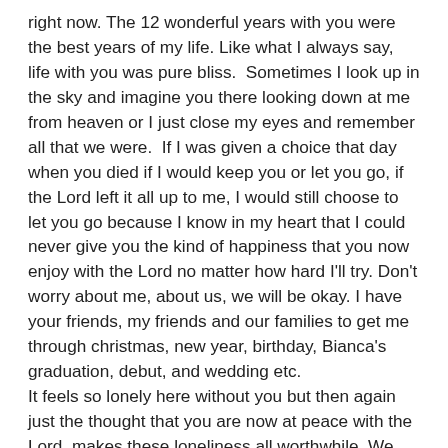right now. The 12 wonderful years with you were the best years of my life. Like what I always say, life with you was pure bliss.  Sometimes I look up in the sky and imagine you there looking down at me from heaven or I just close my eyes and remember all that we were.  If I was given a choice that day when you died if I would keep you or let you go, if the Lord left it all up to me, I would still choose to let you go because I know in my heart that I could never give you the kind of happiness that you now enjoy with the Lord no matter how hard I'll try. Don't worry about me, about us, we will be okay. I have your friends, my friends and our families to get me through christmas, new year, birthday, Bianca's graduation, debut, and wedding etc.
It feels so lonely here without you but then again just the thought that you are now at peace with the Lord, makes these loneliness all worthwhile. We never got the chance to renew our wedding vows just like you've always planned and wanted for our 15th year, there just wasn't that much time anymore, so I just made us a post-nuptial video.